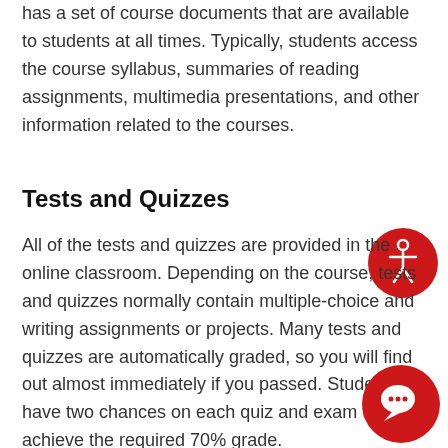has a set of course documents that are available to students at all times. Typically, students access the course syllabus, summaries of reading assignments, multimedia presentations, and other information related to the courses.
Tests and Quizzes
All of the tests and quizzes are provided in the online classroom. Depending on the course, tests and quizzes normally contain multiple-choice and writing assignments or projects. Many tests and quizzes are automatically graded, so you will find out almost immediately if you passed. Students have two chances on each quiz and exam to achieve the required 70% grade.
[Figure (illustration): Red circle with white accessibility icon (person with arms spread)]
[Figure (illustration): Red circle with white chat/speech bubble icon]